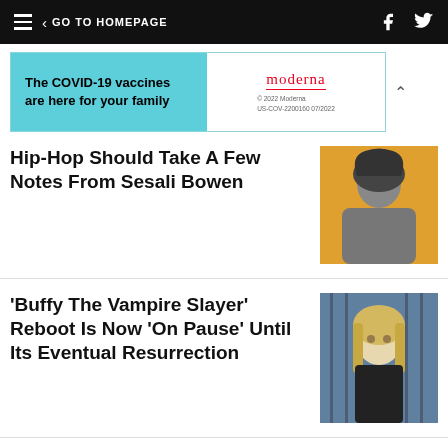GO TO HOMEPAGE
[Figure (infographic): Moderna COVID-19 vaccine advertisement banner: 'The COVID-19 vaccines are here for your family' with Moderna logo and fine print '© 2022 Moderna US-COV-2200160 07/2022']
Hip-Hop Should Take A Few Notes From Sesali Bowen
[Figure (photo): Black and white photo of a Black woman with curly hair against an orange background]
'Buffy The Vampire Slayer' Reboot Is Now 'On Pause' Until Its Eventual Resurrection
[Figure (photo): Photo of a blonde woman (Buffy the Vampire Slayer) against a blue/grey background with iron fence]
Schools Black Donated